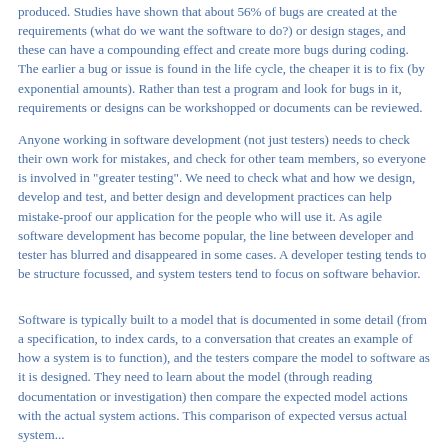produced. Studies have shown that about 56% of bugs are created at the requirements (what do we want the software to do?) or design stages, and these can have a compounding effect and create more bugs during coding. The earlier a bug or issue is found in the life cycle, the cheaper it is to fix (by exponential amounts). Rather than test a program and look for bugs in it, requirements or designs can be workshopped or documents can be reviewed.
Anyone working in software development (not just testers) needs to check their own work for mistakes, and check for other team members, so everyone is involved in "greater testing". We need to check what and how we design, develop and test, and better design and development practices can help mistake-proof our application for the people who will use it. As agile software development has become popular, the line between developer and tester has blurred and disappeared in some cases. A developer testing tends to be structure focussed, and system testers tend to focus on software behavior.
Software is typically built to a model that is documented in some detail (from a specification, to index cards, to a conversation that creates an example of how a system is to function), and the testers compare the model to software as it is designed. They need to learn about the model (through reading documentation or investigation) then compare the expected model actions with the actual system actions. This comparison of expected versus actual system...